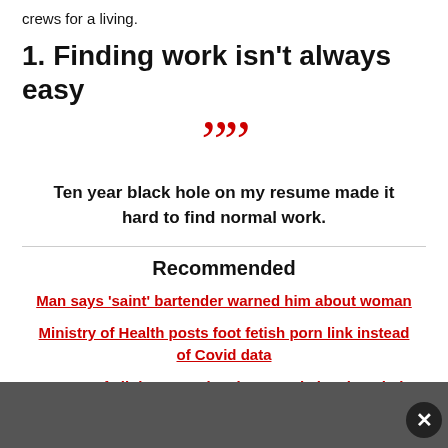crews for a living.
1. Finding work isn't always easy
““
Ten year black hole on my resume made it hard to find normal work.
Recommended
Man says 'saint' bartender warned him about woman
Ministry of Health posts foot fetish porn link instead of Covid data
A map of all the countries that Russia has invaded